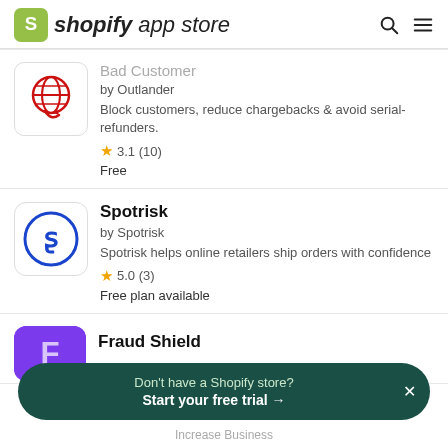shopify app store
[Figure (screenshot): Bad Customer app icon: red globe with red arrow]
Bad Customer
by Outlander
Block customers, reduce chargebacks & avoid serial-refunders.
★ 3.1 (10)
Free
[Figure (logo): Spotrisk app icon: blue circle with stylized S]
Spotrisk
by Spotrisk
Spotrisk helps online retailers ship orders with confidence
★ 5.0 (3)
Free plan available
[Figure (logo): Fraud Shield app icon: purple background, partially visible]
Fraud Shield
Don't have a Shopify store?
Start your free trial →
Increase Business